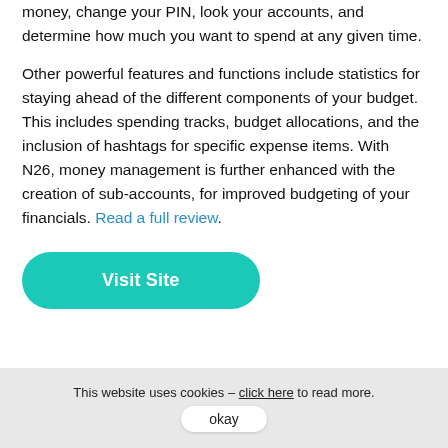money, change your PIN, look your accounts, and determine how much you want to spend at any given time.
Other powerful features and functions include statistics for staying ahead of the different components of your budget. This includes spending tracks, budget allocations, and the inclusion of hashtags for specific expense items. With N26, money management is further enhanced with the creation of sub-accounts, for improved budgeting of your financials. Read a full review.
[Figure (other): Teal/green rounded button labeled 'Visit Site']
This website uses cookies – click here to read more.
okay